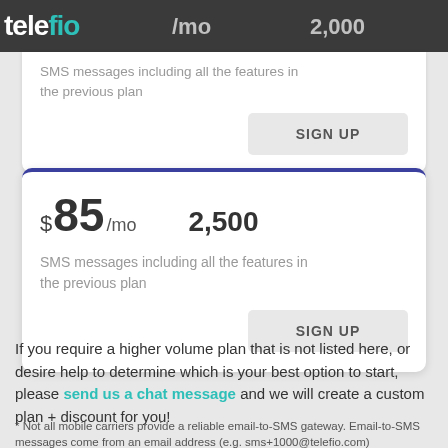telefio
/mo   2,000
SMS messages including all the features in the previous plan
SIGN UP
$85 /mo   2,500
SMS messages including all the features in the previous plan
SIGN UP
If you require a higher volume plan that is not listed here, or desire help to determine which is your best option to start, please send us a chat message and we will create a custom plan + discount for you!
* Not all mobile carriers provide a reliable email-to-SMS gateway. Email-to-SMS messages come from an email address (e.g. sms+1000@telefio.com)